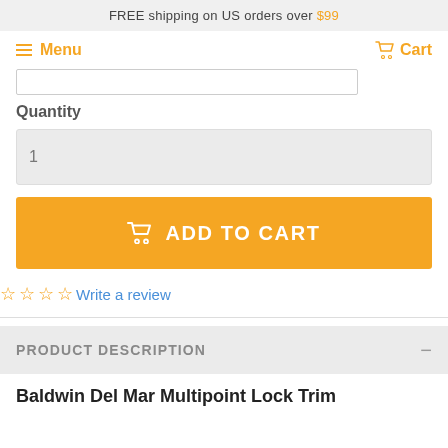FREE shipping on US orders over $99
Menu
Cart
Quantity
1
ADD TO CART
Write a review
PRODUCT DESCRIPTION
Baldwin Del Mar Multipoint Lock Trim